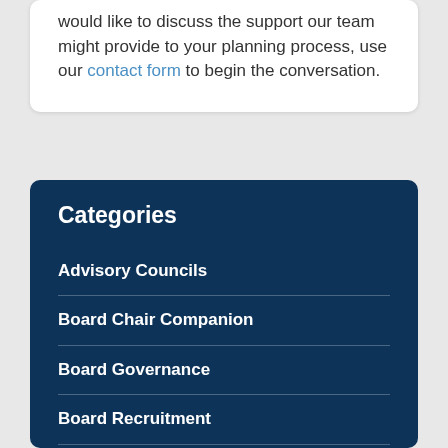would like to discuss the support our team might provide to your planning process, use our contact form to begin the conversation.
Categories
Advisory Councils
Board Chair Companion
Board Governance
Board Recruitment
Executive Search
Leadership Transitions